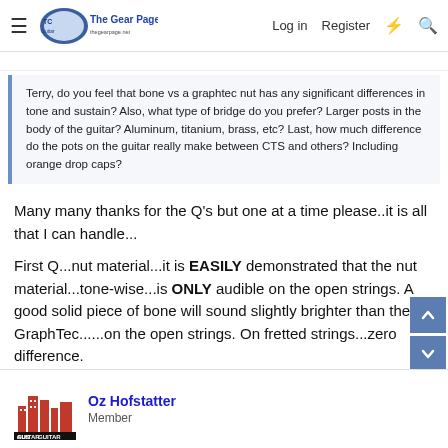The Gear Page — Log in Register
Terry, do you feel that bone vs a graphtec nut has any significant differences in tone and sustain? Also, what type of bridge do you prefer? Larger posts in the body of the guitar? Aluminum, titanium, brass, etc? Last, how much difference do the pots on the guitar really make between CTS and others? Including orange drop caps?
Many many thanks for the Q's but one at a time please..it is all that I can handle...
First Q...nut material...it is EASILY demonstrated that the nut material...tone-wise...is ONLY audible on the open strings. A good solid piece of bone will sound slightly brighter than the GraphTec......on the open strings. On fretted strings...zero difference.
Oz Hofstatter
Member